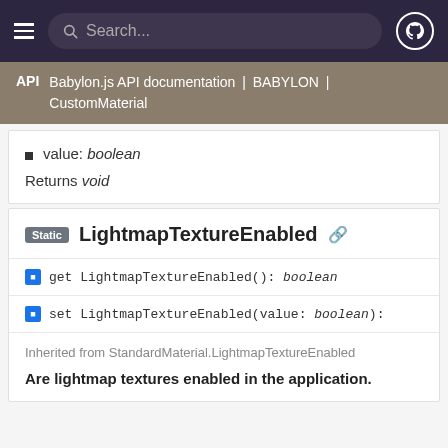Search... (navbar with hamburger menu and GitHub icon)
API | Babylon.js API documentation | BABYLON | CustomMaterial
value: boolean
Returns void
Static LightmapTextureEnabled
get LightmapTextureEnabled(): boolean
set LightmapTextureEnabled(value: boolean):
Inherited from StandardMaterial.LightmapTextureEnabled
Are lightmap textures enabled in the application.